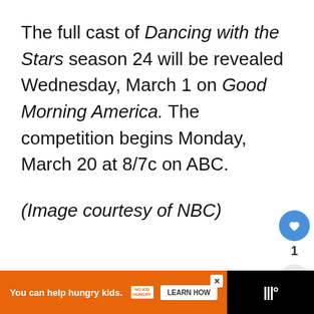The full cast of Dancing with the Stars season 24 will be revealed Wednesday, March 1 on Good Morning America. The competition begins Monday, March 20 at 8/7c on ABC.
(Image courtesy of NBC)
[Figure (screenshot): Social interaction buttons: heart/like button (blue circle with heart icon), count of 1, and share button (grey circle with share icon). Also a 'What's Next' card showing 'Dancing with the Stars'...]
[Figure (screenshot): Bottom advertisement bar: orange background ad reading 'You can help hungry kids.' with No Kid Hungry logo and 'LEARN HOW' button. Black bar on right with WW logo.]